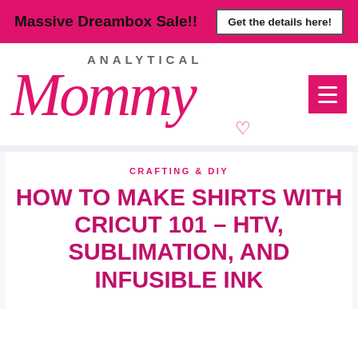Massive Dreambox Sale!! | Get the details here!
[Figure (logo): Analytical Mommy blog logo with pink cursive 'Mommy' text and sans-serif 'ANALYTICAL' above, plus a hamburger menu button]
CRAFTING & DIY
HOW TO MAKE SHIRTS WITH CRICUT 101 – HTV, SUBLIMATION, AND INFUSIBLE INK